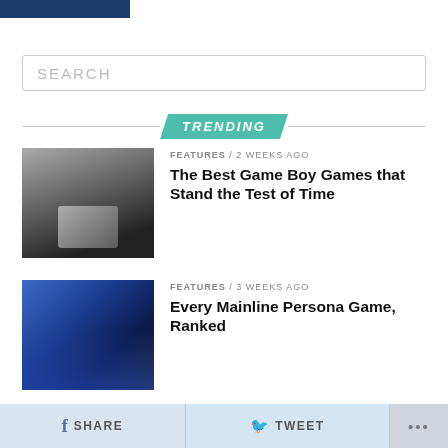SEARCH
TRENDING
FEATURES / 2 weeks ago — The Best Game Boy Games that Stand the Test of Time
FEATURES / 3 weeks ago — Every Mainline Persona Game, Ranked
CULTURE / 4 weeks ago — Pokémon TCG Trick or Trade BOOster Packs Swap Halloween Candy For Collectibles
SHARE  TWEET  ...